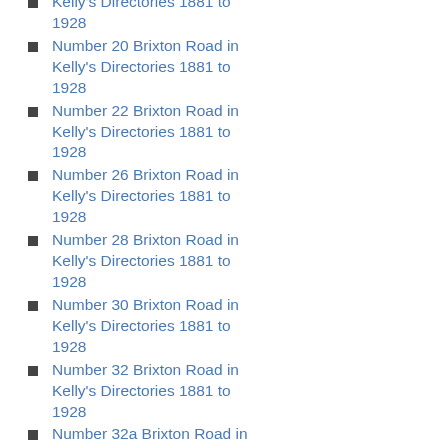Kelly's Directories 1881 to 1928
Number 20 Brixton Road in Kelly's Directories 1881 to 1928
Number 22 Brixton Road in Kelly's Directories 1881 to 1928
Number 26 Brixton Road in Kelly's Directories 1881 to 1928
Number 28 Brixton Road in Kelly's Directories 1881 to 1928
Number 30 Brixton Road in Kelly's Directories 1881 to 1928
Number 32 Brixton Road in Kelly's Directories 1881 to 1928
Number 32a Brixton Road in Kelly's Directories 1881 to 1928
Number 34 & 34a Brixton Road in Kelly's Directories 1881 to 1928